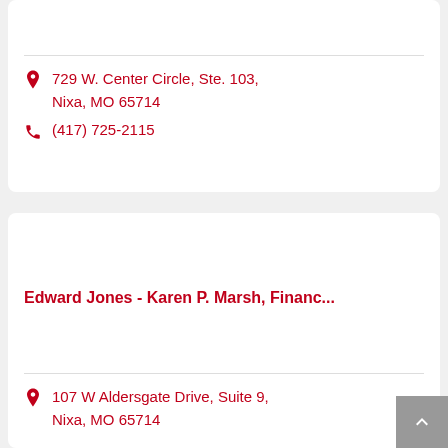729 W. Center Circle, Ste. 103, Nixa, MO 65714
(417) 725-2115
Edward Jones - Karen P. Marsh, Financ...
107 W Aldersgate Drive, Suite 9, Nixa, MO 65714